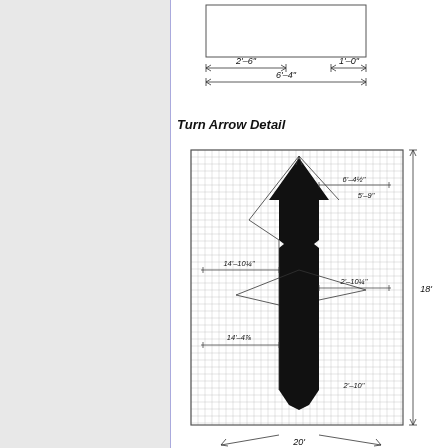[Figure (engineering-diagram): Turn Arrow Detail - top panel showing plan view of a turn arrow with dimensions: 2'-6" width, 6'-4" total width, 1'-0" right portion]
Turn Arrow Detail
[Figure (engineering-diagram): Turn arrow pavement marking detail on grid background showing a black arrow shape with detailed dimensions: 6'-4½", 5'-9", 14'-10¼", 2'-10¼", 14'-4⅞, 2'-10". Overall height 18', bottom width 20°]